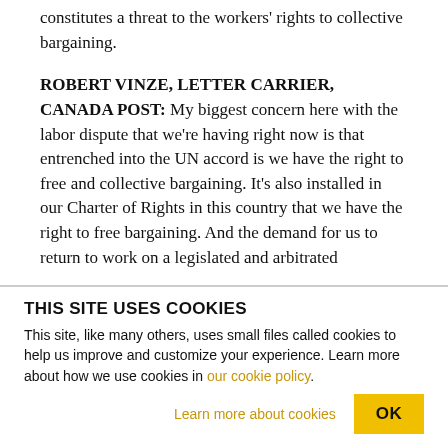constitutes a threat to the workers' rights to collective bargaining.
ROBERT VINZE, LETTER CARRIER, CANADA POST: My biggest concern here with the labor dispute that we're having right now is that entrenched into the UN accord is we have the right to free and collective bargaining. It's also installed in our Charter of Rights in this country that we have the right to free bargaining. And the demand for us to return to work on a legislated and arbitrated
THIS SITE USES COOKIES
This site, like many others, uses small files called cookies to help us improve and customize your experience. Learn more about how we use cookies in our cookie policy.
Learn more about cookies   OK